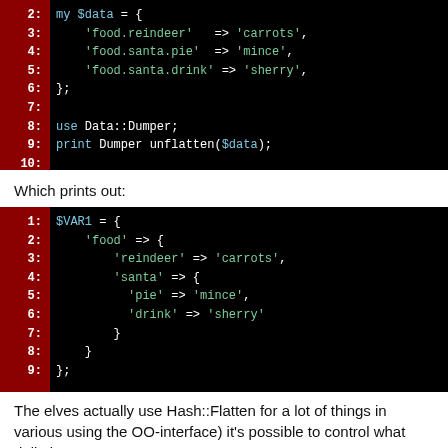[Figure (screenshot): Code block showing Perl hash data structure lines 2-10 with red line number gutter]
Which prints out:
[Figure (screenshot): Code block showing $VAR1 Perl Data::Dumper output lines 1-9 with red line number gutter]
The elves actually use Hash::Flatten for a lot of things in various using the OO-interface) it's possible to control what deliminator a
[Figure (screenshot): Code block showing Perl hash with Beano, Denis keys lines 1-3+ with red line number gutter]